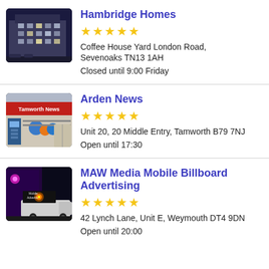[Figure (photo): Photo of Hambridge Homes building exterior at dusk, showing a modern multi-storey apartment building with blue-purple sky.]
Hambridge Homes
★★★★★
Coffee House Yard London Road, Sevenoaks TN13 1AH
Closed until 9:00 Friday
[Figure (photo): Photo of Arden News / Tamworth News shop front with red signage and products displayed outside.]
Arden News
★★★★★
Unit 20, 20 Middle Entry, Tamworth B79 7NJ
Open until 17:30
[Figure (photo): Photo of MAW Media Mobile Billboard Advertising van at night with illuminated billboard.]
MAW Media Mobile Billboard Advertising
★★★★★
42 Lynch Lane, Unit E, Weymouth DT4 9DN
Open until 20:00